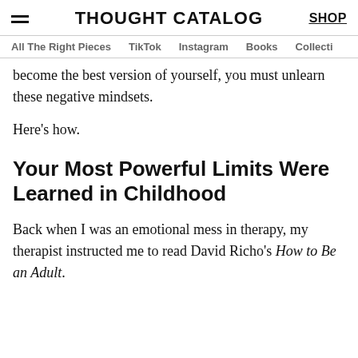THOUGHT CATALOG | SHOP
All The Right Pieces  TikTok  Instagram  Books  Collecti
become the best version of yourself, you must unlearn these negative mindsets.
Here’s how.
Your Most Powerful Limits Were Learned in Childhood
Back when I was an emotional mess in therapy, my therapist instructed me to read David Richo’s How to Be an Adult.